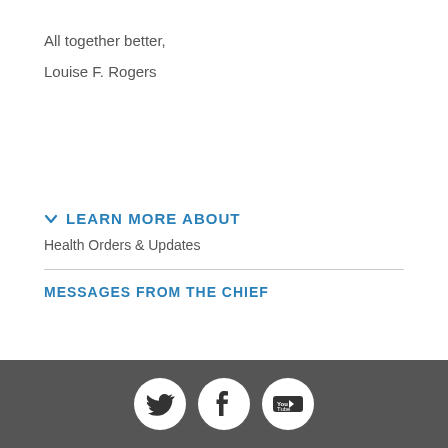All together better,
Louise F. Rogers
LEARN MORE ABOUT
Health Orders & Updates
MESSAGES FROM THE CHIEF
[Figure (other): Footer bar with Twitter, Facebook, and YouTube social media icons on dark grey background]